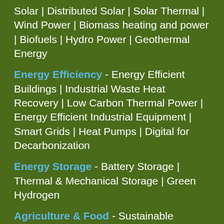Solar | Distributed Solar | Solar Thermal | Wind Power | Biomass heating and power | Biofuels | Hydro Power | Geothermal Energy
Energy Efficiency - Energy Efficient Buildings | Industrial Waste Heat Recovery | Low Carbon Thermal Power | Energy Efficient Industrial Equipment | Smart Grids | Heat Pumps | Digital for Decarbonization
Energy Storage - Battery Storage | Thermal & Mechanical Storage | Green Hydrogen
Agriculture & Food - Sustainable Forestry | Regenerative Agriculture | Smart Farming | Low Carbon Food | Agro Waste Management